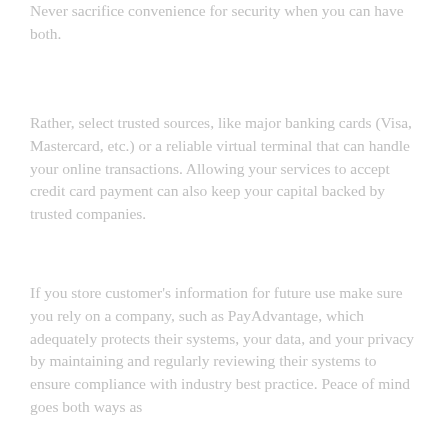Never sacrifice convenience for security when you can have both.
Rather, select trusted sources, like major banking cards (Visa, Mastercard, etc.) or a reliable virtual terminal that can handle your online transactions. Allowing your services to accept credit card payment can also keep your capital backed by trusted companies.
If you store customer's information for future use make sure you rely on a company, such as PayAdvantage, which adequately protects their systems, your data, and your privacy by maintaining and regularly reviewing their systems to ensure compliance with industry best practice. Peace of mind goes both ways as